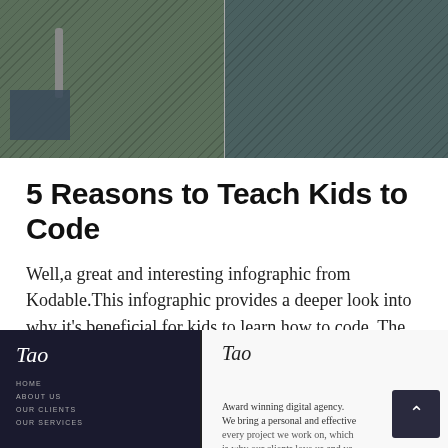[Figure (screenshot): Top portion of a webpage showing two side-by-side teal/dark green patterned images, one with a dark box overlay and cable visible]
5 Reasons to Teach Kids to Code
Well,a great and interesting infographic from Kodable.This infographic provides a deeper look into why it’s beneficial for kids to learn how to code. The world is moving in a different direction. The job market is a little less focused on whom you …
Continue reading…
[Figure (screenshot): Bottom portion showing a dark-themed website with Tao logo in white on the left, and a light-themed version of the Tao website on the right with text about Award winning digital agency, plus a dark scroll-to-top button]